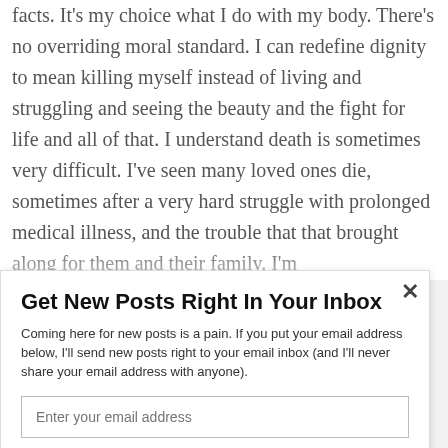facts. It's my choice what I do with my body. There's no overriding moral standard. I can redefine dignity to mean killing myself instead of living and struggling and seeing the beauty and the fight for life and all of that. I understand death is sometimes very difficult. I've seen many loved ones die, sometimes after a very hard struggle with prolonged medical illness, and the trouble that that brought along for them and their family. I'm
Get New Posts Right In Your Inbox
Coming here for new posts is a pain. If you put your email address below, I'll send new posts right to your email inbox (and I'll never share your email address with anyone).